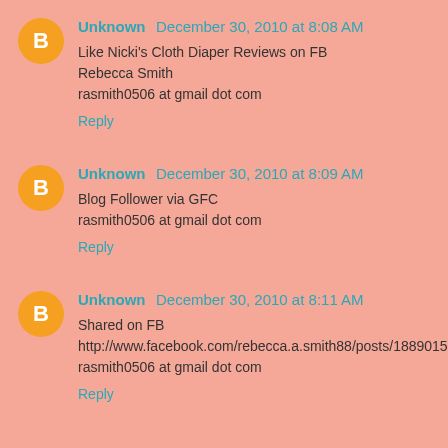Unknown December 30, 2010 at 8:08 AM
Like Nicki's Cloth Diaper Reviews on FB
Rebecca Smith
rasmith0506 at gmail dot com
Reply
Unknown December 30, 2010 at 8:09 AM
Blog Follower via GFC
rasmith0506 at gmail dot com
Reply
Unknown December 30, 2010 at 8:11 AM
Shared on FB
http://www.facebook.com/rebecca.a.smith88/posts/188901594460089
rasmith0506 at gmail dot com
Reply